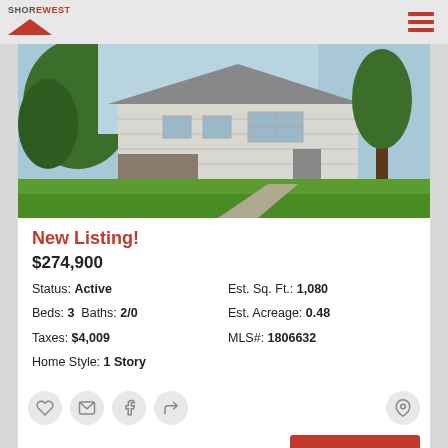Shorewest
[Figure (photo): Exterior photo of a single-story ranch home with white siding, large lawn in foreground, trees on left and right sides, taken on a sunny day.]
New Listing!
$274,900
Status: Active   Est. Sq. Ft.: 1,080
Beds: 3 Baths: 2/0   Est. Acreage: 0.48
Taxes: $4,009   MLS#: 1806632
Home Style: 1 Story